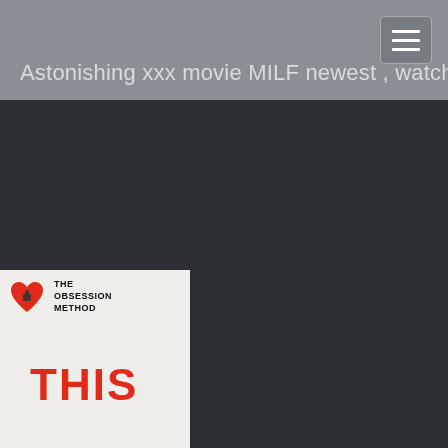Astonishing xxx movie MILF newest , watch it
[Figure (logo): The Obsession Method logo with red heart icon and bold text reading THE OBSESSION METHOD, followed by large red text THIS]
[Figure (other): Hamburger menu button (three horizontal lines) in top right corner]